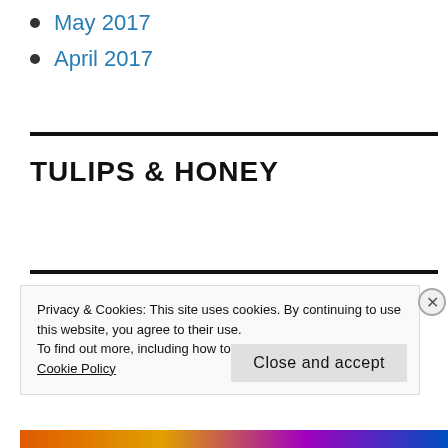May 2017
April 2017
TULIPS & HONEY
Privacy & Cookies: This site uses cookies. By continuing to use this website, you agree to their use.
To find out more, including how to control cookies, see here:
Cookie Policy
Close and accept